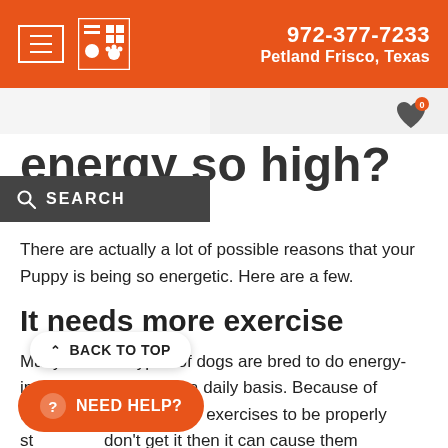972-377-7233 Petland Frisco, Texas
energy so high?
March 23, 2020
There are actually a lot of possible reasons that your Puppy is being so energetic. Here are a few.
It needs more exercise
Many different types of dogs are bred to do energy-intensive activities for hours on a daily basis. Because of this, they require a lot of exercises to be properly stimulated. If they don't get it then it can cause them to become hyperactive since they will be looking for ways to vent their excess energy.